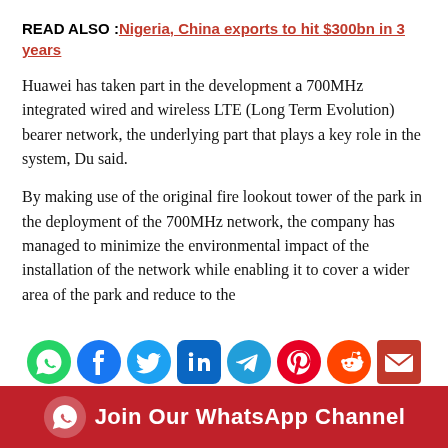READ ALSO :Nigeria, China exports to hit $300bn in 3 years
Huawei has taken part in the development a 700MHz integrated wired and wireless LTE (Long Term Evolution) bearer network, the underlying part that plays a key role in the system, Du said.
By making use of the original fire lookout tower of the park in the deployment of the 700MHz network, the company has managed to minimize the environmental impact of the installation of the network while enabling it to cover a wider area of the park and reduce to the
[Figure (infographic): Row of social media share icons: WhatsApp, Facebook, Twitter, LinkedIn, Telegram, Pinterest, Reddit, Email]
[Figure (infographic): Red banner with WhatsApp icon and text: Join Our WhatsApp Channel]